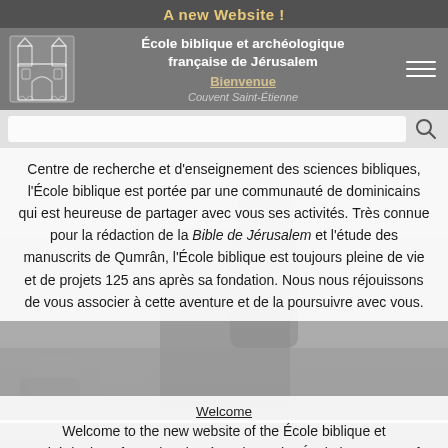A new Website !
École biblique et archéologique française de Jérusalem
Bienvenue
Couvent Saint-Étienne
Centre de recherche et d'enseignement des sciences bibliques, l'École biblique est portée par une communauté de dominicains qui est heureuse de partager avec vous ses activités. Très connue pour la rédaction de la Bible de Jérusalem et l'étude des manuscrits de Qumrân, l'École biblique est toujours pleine de vie et de projets 125 ans après sa fondation. Nous nous réjouissons de vous associer à cette aventure et de la poursuivre avec vous.
Welcome
Welcome to the new website of the École biblique et archéologique française de Jérusalem. The École is a center of biblical research and teaching, attached to a